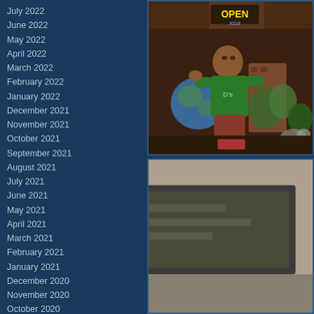July 2022
June 2022
May 2022
April 2022
March 2022
February 2022
January 2022
December 2021
November 2021
October 2021
September 2021
August 2021
July 2021
June 2021
May 2021
April 2021
March 2021
February 2021
January 2021
December 2020
November 2020
October 2020
September 2020
August 2020
July 2020
June 2020
[Figure (photo): A decorative statue of a man in a green t-shirt inside what appears to be a bar or restaurant, with a globe and tropical plants around him. A neon OPEN sign is visible in the background.]
[Figure (photo): Partial view of an outdoor or indoor scene, appears to show a building exterior or sign.]